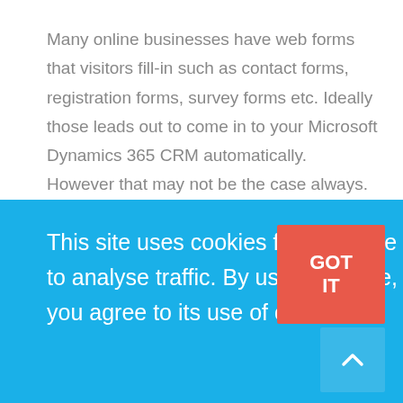Many online businesses have web forms that visitors fill-in such as contact forms, registration forms, survey forms etc. Ideally those leads out to come in to your Microsoft Dynamics 365 CRM automatically. However that may not be the case always.

You may be receiving an automated email whenever your
This site uses cookies from Google to analyse traffic. By using this site, you agree to its use of cookies.